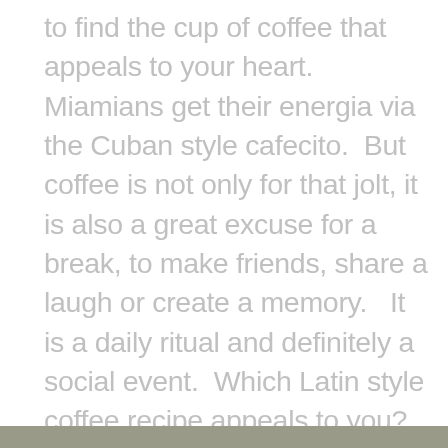to find the cup of coffee that appeals to your heart.  Miamians get their energia via the Cuban style cafecito.  But coffee is not only for that jolt, it is also a great excuse for a break, to make friends, share a laugh or create a memory.   It is a daily ritual and definitely a social event.  Which Latin style coffee recipe appeals to you?  Here is your Miami Latin Coffee Guide.